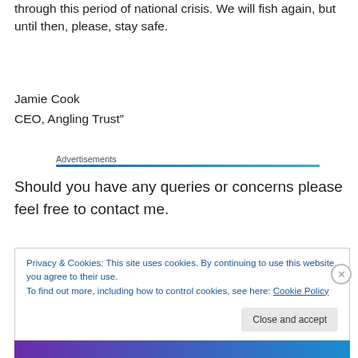through this period of national crisis. We will fish again, but until then, please, stay safe.
Jamie Cook
CEO, Angling Trust"
Advertisements
Should you have any queries or concerns please feel free to contact me.
Privacy & Cookies: This site uses cookies. By continuing to use this website, you agree to their use.
To find out more, including how to control cookies, see here: Cookie Policy
Close and accept